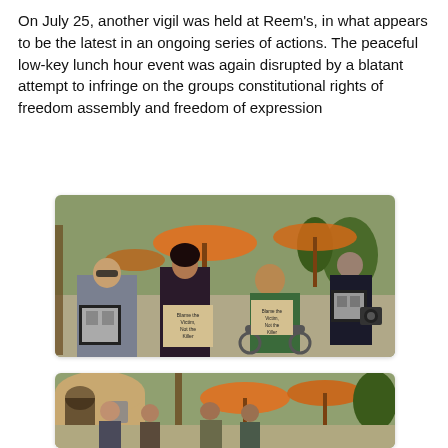On July 25, another vigil was held at Reem's, in what appears to be the latest in an ongoing series of actions. The peaceful low-key lunch hour event was again disrupted by a blatant attempt to infringe on the groups constitutional rights of freedom assembly and freedom of expression
[Figure (photo): Outdoor vigil scene with several people holding framed photographs and signs. One woman holds a sign reading 'Blame the Victim, Not the Killer'. Orange umbrellas and trees visible in the background.]
[Figure (photo): Second outdoor photo showing people gathered at the same location with orange umbrellas and arched building architecture in the background.]